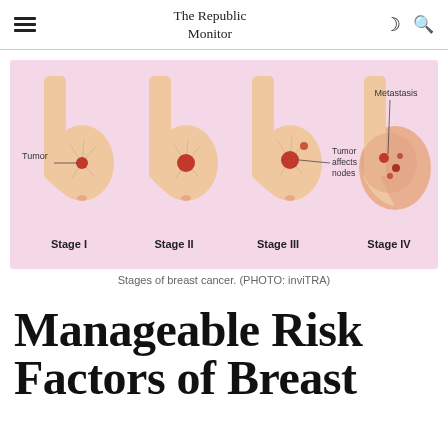The Republic Monitor
[Figure (illustration): Four-stage diagram of breast cancer progression showing cross-sections of breast anatomy. Stage I: small tumor labeled 'Tumor'. Stage II: slightly larger tumor. Stage III: tumor with label 'Tumor affects nodes'. Stage IV: large spread with label 'Metastasis'. Each stage shows anatomical breast cross-section on pink background with bold labels Stage I, Stage II, Stage III, Stage IV.]
Stages of breast cancer. (PHOTO: inviTRA)
Manageable Risk Factors of Breast